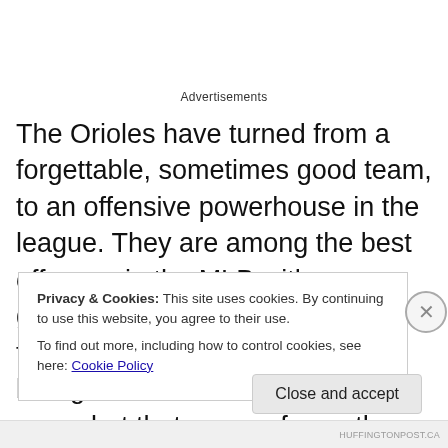Advertisements
The Orioles have turned from a forgettable, sometimes good team, to an offensive powerhouse in the league. They are among the best offences in the MLB with some great power hitters in the middle of the lineup. Last year that offence brought them to the wild card game but that was as far as they could get losing to the Blue Jays. With a few changes this year they are hoping that things can
Privacy & Cookies: This site uses cookies. By continuing to use this website, you agree to their use.
To find out more, including how to control cookies, see here: Cookie Policy
Close and accept